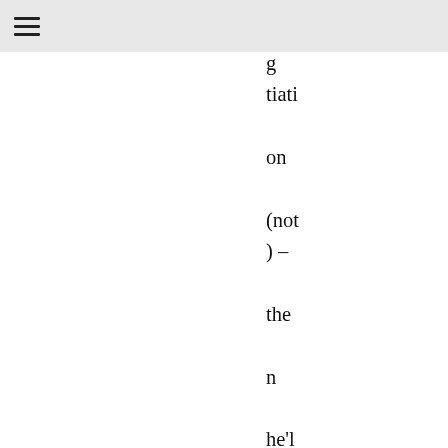gtiati on (not ) – the n he'll clai m a vict ory in gett ing it dela ved